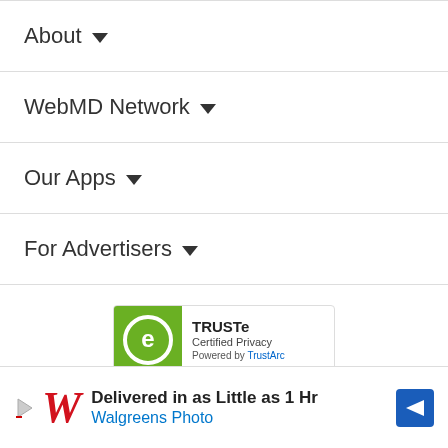About ∨
WebMD Network ∨
Our Apps ∨
For Advertisers ∨
[Figure (logo): TRUSTe Certified Privacy badge powered by TrustArc]
[Figure (logo): Rainbow arc logo partially visible above advertisement label]
ADVERTISEMENT
[Figure (screenshot): Walgreens Photo advertisement: Delivered in as Little as 1 Hr, Walgreens Photo, with Walgreens W logo and blue direction arrow]